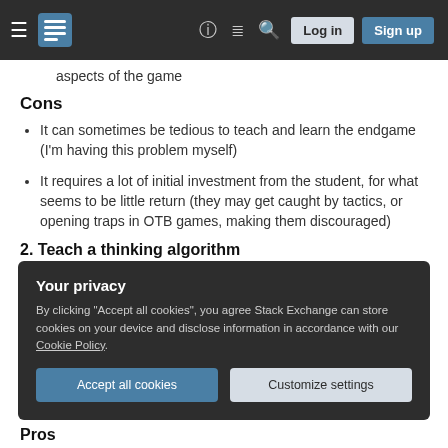Stack Exchange navigation bar with logo, help, chat, search, log in, sign up
aspects of the game
Cons
It can sometimes be tedious to teach and learn the endgame (I'm having this problem myself)
It requires a lot of initial investment from the student, for what seems to be little return (they may get caught by tactics, or opening traps in OTB games, making them discouraged)
2. Teach a thinking algorithm
Your privacy
By clicking "Accept all cookies", you agree Stack Exchange can store cookies on your device and disclose information in accordance with our Cookie Policy.
Accept all cookies   Customize settings
Pros